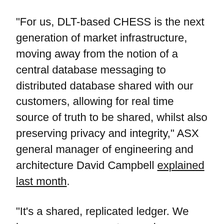"For us, DLT-based CHESS is the next generation of market infrastructure, moving away from the notion of a central database messaging to distributed database shared with our customers, allowing for real time source of truth to be shared, whilst also preserving privacy and integrity," ASX general manager of engineering and architecture David Campbell explained last month.
"It's a shared, replicated ledger. We have a copy, our customers have a copy -- anyone who takes a node has a copy of the ledger -- all synchronised. Each transaction refers to the previous transaction, and is cryptographically signed by a legal approver. In